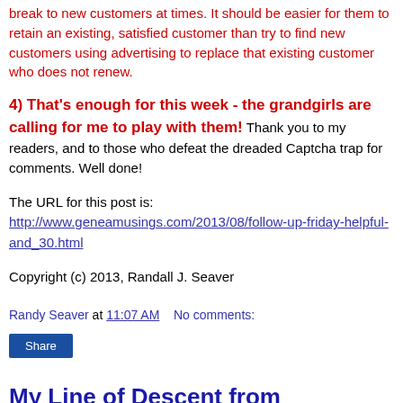break to new customers at times.  It should be easier for them to retain an existing, satisfied customer than try to find new customers using advertising to replace that existing customer who does not renew.
4)  That's enough for this week - the grandgirls are calling for me to play with them!  Thank you to my readers, and to those who defeat the dreaded Captcha trap for comments.  Well done!
The URL for this post is:
 http://www.geneamusings.com/2013/08/follow-up-friday-helpful-and_30.html
Copyright (c) 2013, Randall J. Seaver
Randy Seaver at 11:07 AM    No comments:
Share
My Line of Descent from Charlemagne